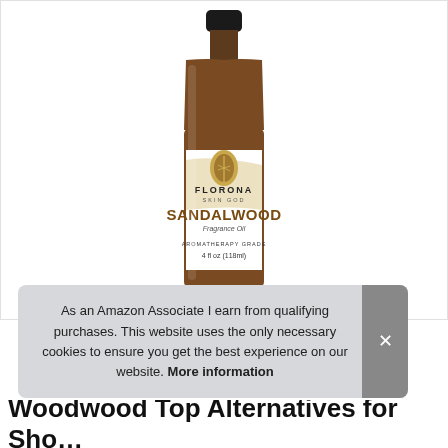[Figure (photo): A brown glass bottle of Florona Skin God Sandalwood Fragrance Oil, Aromatherapy Grade, 4 fl oz (118ml), with a white and gold label featuring a leaf logo and decorative botanical elements.]
As an Amazon Associate I earn from qualifying purchases. This website uses the only necessary cookies to ensure you get the best experience on our website. More information
Woodwood Top Alternatives for Sho...